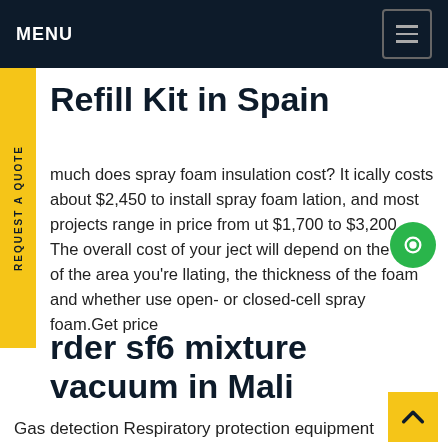MENU
Refill Kit in Spain
How much does spray foam insulation cost? It typically costs about $2,450 to install spray foam insulation, and most projects range in price from about $1,700 to $3,200 . The overall cost of your project will depend on the size of the area you're insulating, the thickness of the foam and whether you use open- or closed-cell spray foam.Get price
rder sf6 mixture vacuum in Mali
Gas detection Respiratory protection equipment –